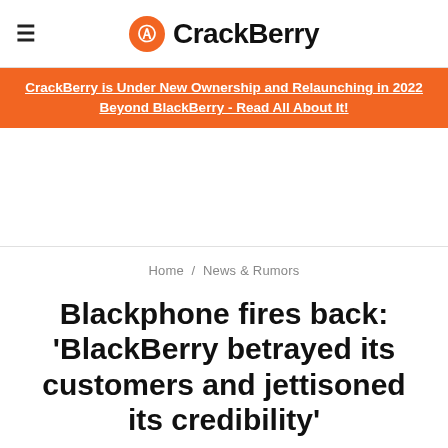CrackBerry
CrackBerry is Under New Ownership and Relaunching in 2022 Beyond BlackBerry - Read All About It!
Home / News & Rumors
Blackphone fires back: 'BlackBerry betrayed its customers and jettisoned its credibility'
SIMON SAGE   15 Jul 2014   370 comments
[Figure (photo): Dark blurred background with golden bokeh light on left and Blackphone logo text in center-right]